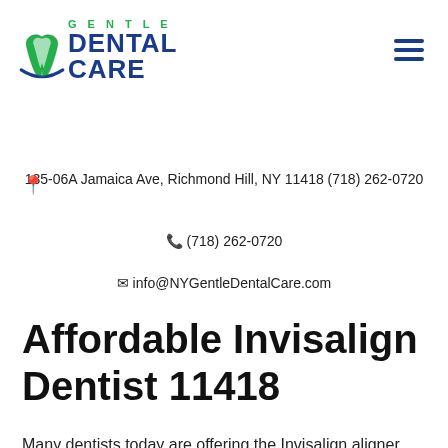[Figure (logo): Gentle Dental Care logo with tooth icon and blue arc underline, green GENTLE text above blue DENTAL CARE text]
135-06A Jamaica Ave, Richmond Hill, NY 11418 (718) 262-0720
📞 (718) 262-0720
✉ info@NYGentleDentalCare.com
Affordable Invisalign Dentist 11418
Many dentists today are offering the Invisalign aligner